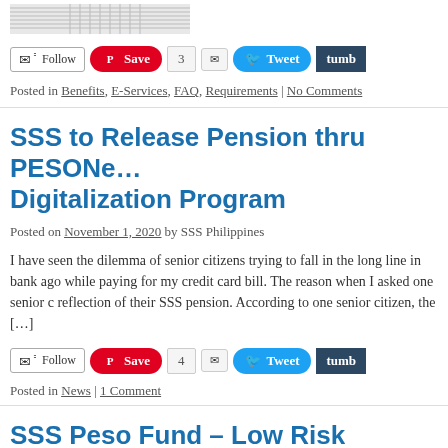[Figure (screenshot): Partial image showing lined/striped pattern at top of page]
✉ Follow | Save 3 [email] Tweet tumbl
Posted in Benefits, E-Services, FAQ, Requirements | No Comments
SSS to Release Pension thru PESONet Digitalization Program
Posted on November 1, 2020 by SSS Philippines
I have seen the dilemma of senior citizens trying to fall in the long line in bank ago while paying for my credit card bill. The reason when I asked one senior c reflection of their SSS pension. According to one senior citizen, the […]
✉ Follow | Save 4 [email] Tweet tumbl
Posted in News | 1 Comment
SSS Peso Fund – Low Risk Investmen
Posted on October 31, 2020 by SSS Philippines
According to Atty Marichelle Reyes, OIC Voluntary Pro